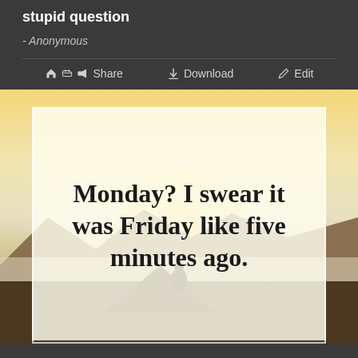stupid question
- Anonymous
Share  Download  Edit
[Figure (illustration): Quote image with scenic sunset background (mountains, misty landscape, warm yellow-golden sky) with a decorative white border frame. Bold serif text reads: Monday? I swear it was Friday like five minutes ago.]